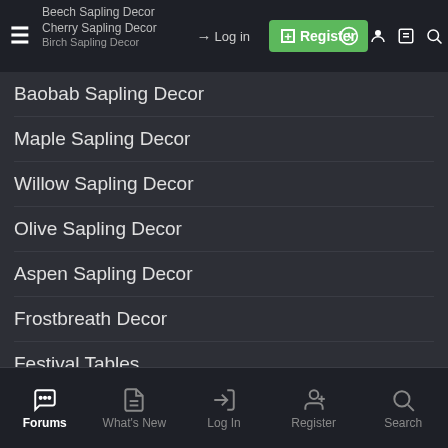Beech Sapling Decor / Cherry Sapling Decor / Log in / Register
Baobab Sapling Decor
Maple Sapling Decor
Willow Sapling Decor
Olive Sapling Decor
Aspen Sapling Decor
Frostbreath Decor
Festival Tables
Cutlery Set
Circular Wooden Plate
Vegetable Soup
Loaf of Bread
Dinner Roll
Baguette
Bread Basket
Forums | What's New | Log In | Register | Search